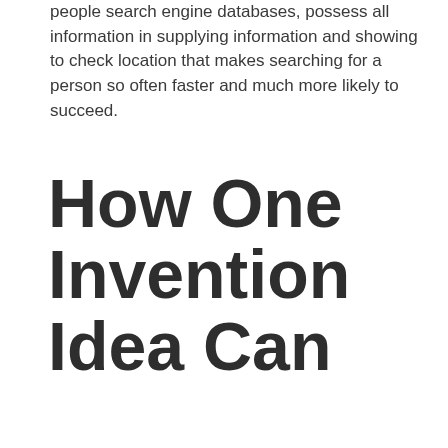people search engine databases, possess all information in supplying information and showing to check location that makes searching for a person so often faster and much more likely to succeed.
How One Invention Idea Can